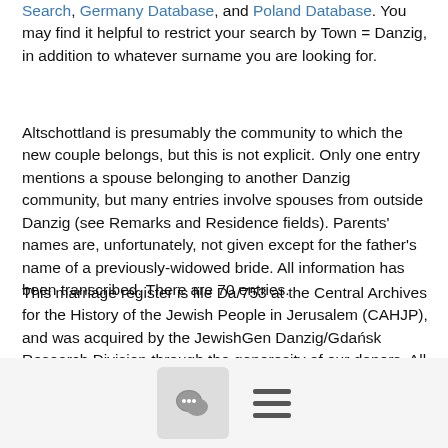Search, Germany Database, and Poland Database. You may find it helpful to restrict your search by Town = Danzig, in addition to whatever surname you are looking for.
Altschottland is presumably the community to which the new couple belongs, but this is not explicit. Only one entry mentions a spouse belonging to another Danzig community, but many entries involve spouses from outside Danzig (see Remarks and Residence fields). Parents' names are, unfortunately, not given except for the father's name of a previously-widowed bride. All information has been transcribed. There are 70 entries.
This marriage register is file Da/753 at the Central Archives for the History of the Jewish People in Jerusalem (CAHJP), and was acquired by the JewishGen Danzig/Gdańsk Research Division through the generosity of our donors. All transcription and proofreading was done by volunteers.
Several additional Danzig datasets will be posted online very soon. Others require varying amounts of proofreading or